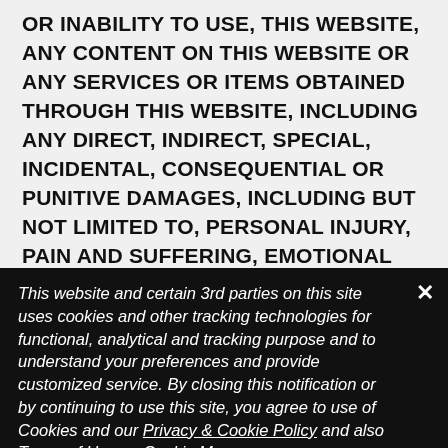OR INABILITY TO USE, THIS WEBSITE, ANY CONTENT ON THIS WEBSITE OR ANY SERVICES OR ITEMS OBTAINED THROUGH THIS WEBSITE, INCLUDING ANY DIRECT, INDIRECT, SPECIAL, INCIDENTAL, CONSEQUENTIAL OR PUNITIVE DAMAGES, INCLUDING BUT NOT LIMITED TO, PERSONAL INJURY, PAIN AND SUFFERING, EMOTIONAL DISTRESS, LOSS OF REVENUE, LOSS OF PROFITS, LOSS OF BUSINESS OR ANTICIPATED SAVINGS, LOSS OF USE,
This website and certain 3rd parties on this site uses cookies and other tracking technologies for functional, analytical and tracking purpose and to understand your preferences and provide customized service. By closing this notification or by continuing to use this site, you agree to use of Cookies and our Privacy & Cookie Policy and also Terms of Use.     Cookie Manager